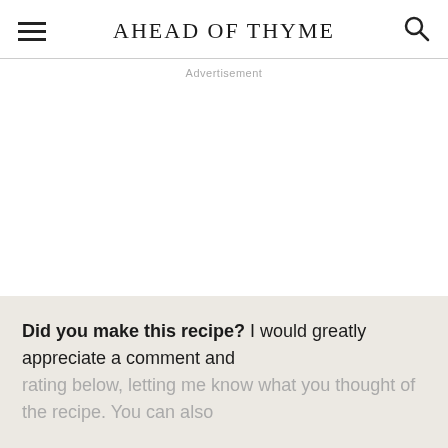AHEAD OF THYME
Advertisement
718
Did you make this recipe? I would greatly appreciate a comment and rating below, letting me know what you thought of the recipe. You can also